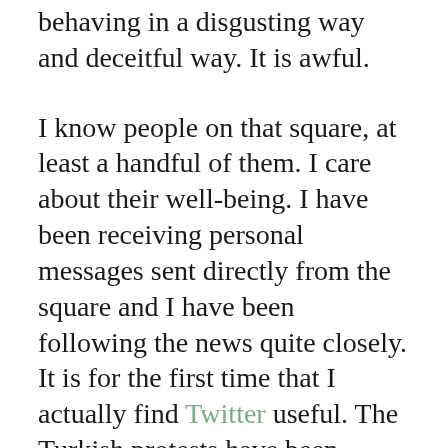behaving in a disgusting way and deceitful way. It is awful.
I know people on that square, at least a handful of them. I care about their well-being. I have been receiving personal messages sent directly from the square and I have been following the news quite closely. It is for the first time that I actually find Twitter useful. The Turkish protests have been widely ignored by the Turkish media so the protesters rely heavily on Facebook and Twitter to get the truth out. By witnessing their desperate efforts and